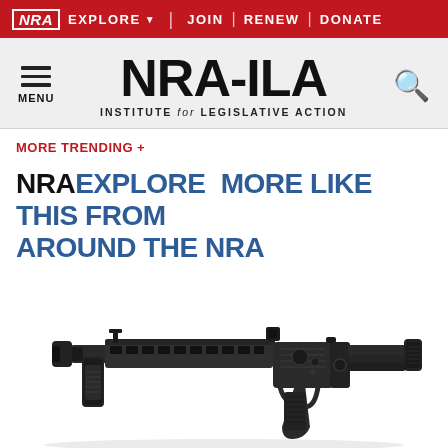NRA EXPLORE ▾ JOIN | RENEW | DONATE
[Figure (logo): NRA-ILA Institute for Legislative Action logo with hamburger menu and search icon]
MORE TRENDING +
NRA EXPLORE MORE LIKE THIS FROM AROUND THE NRA
[Figure (photo): Photograph of a modern semi-automatic carbine rifle (Kel-Tec Sub-2000 style) with folding stock, displayed on white background]